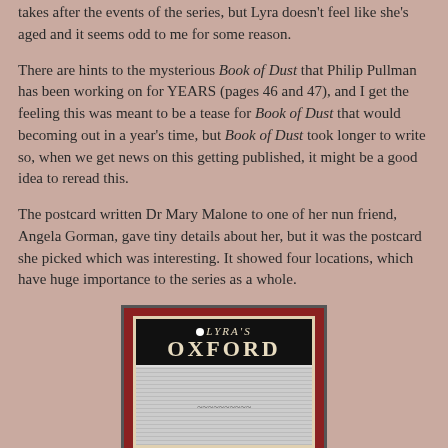takes after the events of the series, but Lyra doesn't feel like she's aged and it seems odd to me for some reason.
There are hints to the mysterious Book of Dust that Philip Pullman has been working on for YEARS (pages 46 and 47), and I get the feeling this was meant to be a tease for Book of Dust that would becoming out in a year's time, but Book of Dust took longer to write so, when we get news on this getting published, it might be a good idea to reread this.
The postcard written Dr Mary Malone to one of her nun friend, Angela Gorman, gave tiny details about her, but it was the postcard she picked which was interesting. It showed four locations, which have huge importance to the series as a whole.
[Figure (photo): Book cover of Lyra's Oxford showing a dark title box with the text 'LYRA'S OXFORD' on a red background with an illustration at the bottom]